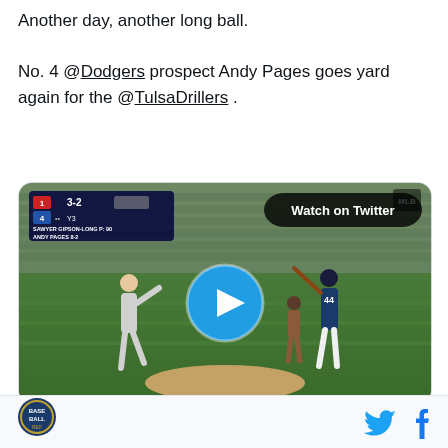Another day, another long ball.

No. 4 @Dodgers prospect Andy Pages goes yard again for the @TulsaDrillers .
[Figure (screenshot): Video thumbnail of a baseball game showing a pitcher throwing and a batter swinging, with a play button overlay and 'Watch on Twitter' badge. Scoreboard shows 3-2 score with player names SAWYER GIPSON-LONG and ANDY PAGES.]
2:10 AM · Jun 17, 2022
43  Reply  Copy link
[Figure (logo): Baseball reference site circular logo]
[Figure (logo): Twitter bird logo and Facebook f logo]